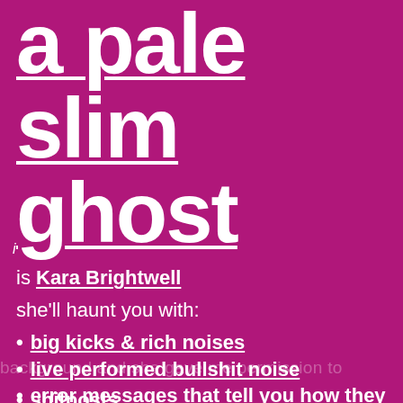a pale slim ghost
is Kara Brightwell
she'll haunt you with:
big kicks & rich noises
live performed bullshit noise
error messages that tell you how they can be fixed
shitposts